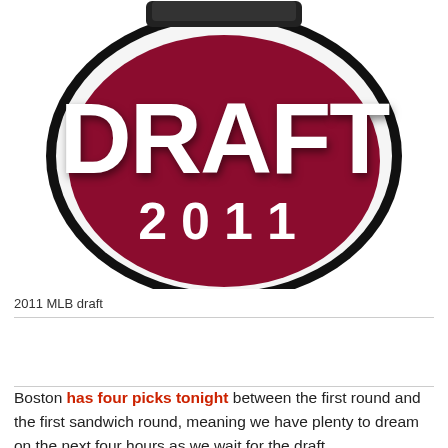[Figure (logo): MLB Draft 2011 logo — a dark red oval with a black border, white oval inner ring, large white bold text 'DRAFT' and '2 0 1 1' below it, with a partial banner/ribbon at the top]
2011 MLB draft
Boston has four picks tonight between the first round and the first sandwich round, meaning we have plenty to dream on the next four hours as we wait for the draft